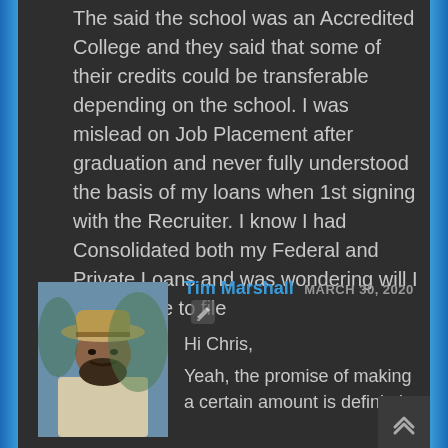The said the school was an Accredited College and they said that some of their credits could be transferable depending on the school. I was mislead on Job Placement after graduation and never fully understood the basis of my loans when 1st signing with the Recruiter. I know I had Consolidated both my Federal and Private Loans and was wondering will I still be able to file
Reply
[Figure (photo): Profile photo of Tim Marshall: a man wearing a cowboy hat outdoors, possibly near a horse]
Tim Marshall MARCH 30, 2020
Hi Chris,
Yeah, the promise of making a certain amount is definitely